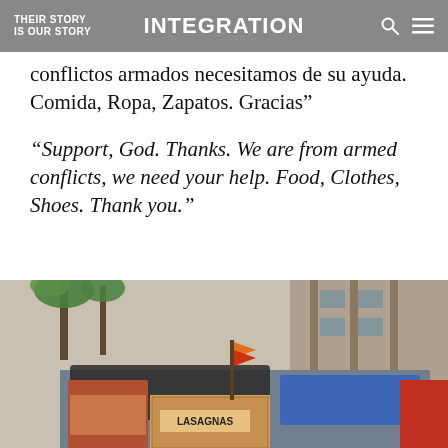THEIR STORY IS OUR STORY | INTEGRATION
conflictos armados necesitamos de su ayuda. Comida, Ropa, Zapatos. Gracias”
“Support, God. Thanks. We are from armed conflicts, we need your help. Food, Clothes, Shoes. Thank you.”
[Figure (photo): Street scene showing stacked supplies and boxes covered with tarps and flags, with a sign reading LASAGNAS visible, in front of an urban building with palm trees in background.]